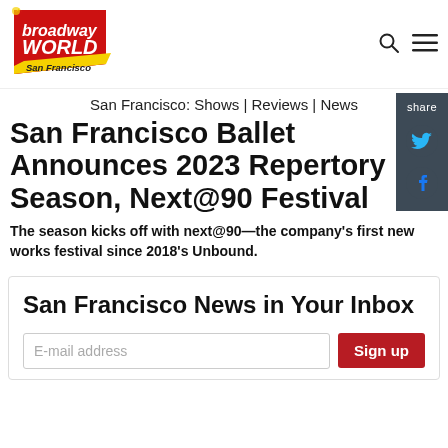[Figure (logo): BroadwayWorld San Francisco logo — red diagonal banner with yellow 'broadway WORLD' text and 'San Francisco' label]
San Francisco: Shows | Reviews | News
San Francisco Ballet Announces 2023 Repertory Season, Next@90 Festival
The season kicks off with next@90—the company's first new works festival since 2018's Unbound.
San Francisco News in Your Inbox
E-mail address
Sign up